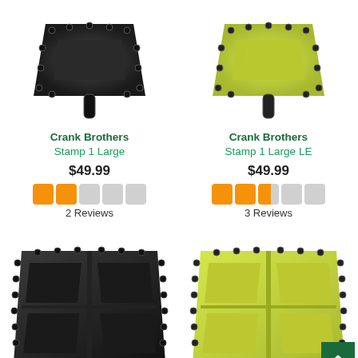[Figure (photo): Black Crank Brothers Stamp 1 Large bicycle pedal, top-down view]
Crank Brothers
Stamp 1 Large
$49.99
[Figure (other): 2-star rating shown with orange star icons]
2 Reviews
[Figure (photo): Yellow-green Crank Brothers Stamp 1 Large LE bicycle pedal, top-down view]
Crank Brothers
Stamp 1 Large LE
$49.99
[Figure (other): 2.5-star rating shown with orange star icons]
3 Reviews
[Figure (photo): Black Crank Brothers Stamp 1 Large bicycle pedal, angled front view]
[Figure (photo): Yellow-green Crank Brothers Stamp 1 Large LE bicycle pedal, angled front view]